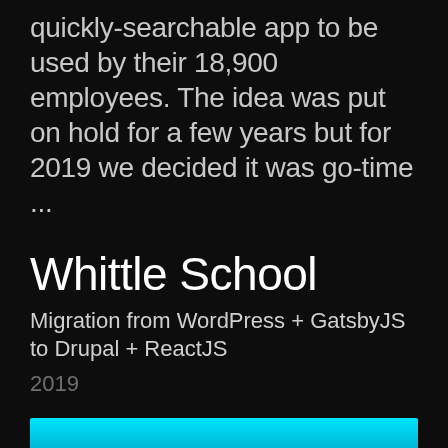quickly-searchable app to be used by their 18,900 employees. The idea was put on hold for a few years but for 2019 we decided it was go-time ...
Whittle School
Migration from WordPress + GatsbyJS to Drupal + ReactJS
2019
[Figure (photo): Partial image visible at bottom of page, showing cyan/blue sky or landscape]